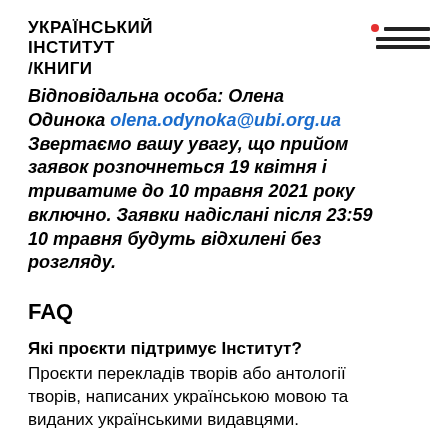УКРАЇНСЬКИЙ ІНСТИТУТ /КНИГИ
Відповідальна особа: Олена Одинока olena.odynoka@ubi.org.ua Звертаємо вашу увагу, що прийом заявок розпочнеться 19 квітня і триватиме до 10 травня 2021 року включно. Заявки надіслані після 23:59 10 травня будуть відхилені без розгляду.
FAQ
Які проєкти підтримує Інститут?
Проєкти перекладів творів або антології творів, написаних українською мовою та виданих українськими видавцями.